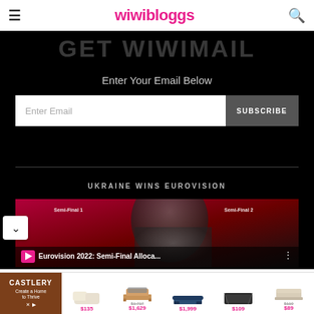wiwibloggs
GET WIWIMAIL
Enter Your Email Below
Enter Email | SUBSCRIBE
UKRAINE WINS EUROVISION
[Figure (screenshot): Video thumbnail for Eurovision 2022: Semi-Final Alloca... with Semi-Final 1 and Semi-Final 2 labels and a pink play button]
[Figure (infographic): Castlery advertisement banner showing furniture products with prices: $135, $1,717 strikethrough / $1,629, $1,999, $109, $110 strikethrough / $89]